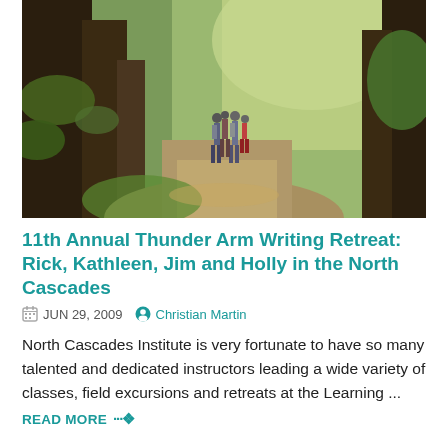[Figure (photo): Group of hikers walking along a forest trail surrounded by large moss-covered trees and lush green vegetation, viewed from behind]
11th Annual Thunder Arm Writing Retreat: Rick, Kathleen, Jim and Holly in the North Cascades
JUN 29, 2009  Christian Martin
North Cascades Institute is very fortunate to have so many talented and dedicated instructors leading a wide variety of classes, field excursions and retreats at the Learning ...
READ MORE